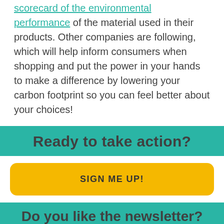scorecard of the environmental performance of the material used in their products. Other companies are following, which will help inform consumers when shopping and put the power in your hands to make a difference by lowering your carbon footprint so you can feel better about your choices!
Ready to take action?
SIGN ME UP!
Do you like the newsletter? Share it!
[Figure (illustration): Facebook and Twitter social media icons at the bottom of the page]